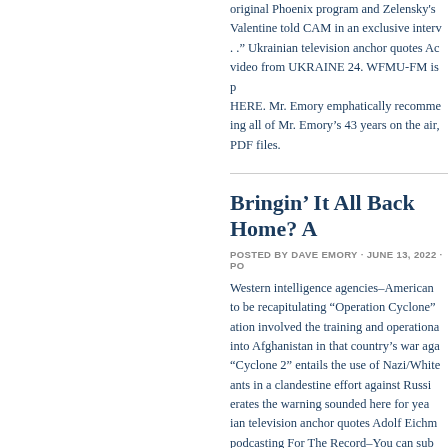original Phoenix program and Zelensky's... Valentine told CAM in an exclusive interv... . ." Ukrainian television anchor quotes Ac... video from UKRAINE 24. WFMU-FM is p... HERE. Mr. Emory emphatically recomme... ing all of Mr. Emory's 43 years on the air,... PDF files.
Bringin' It All Back Home? A
POSTED BY DAVE EMORY · JUNE 13, 2022 · PO
Western intelligence agencies–American... to be recapitulating "Operation Cyclone"... ation involved the training and operationa... into Afghanistan in that country's war aga... "Cyclone 2" entails the use of Nazi/White... ants in a clandestine effort against Russi... erates the warning sounded here for yea... ian television anchor quotes Adolf Eichm... podcasting For The Record–You can sub... mends that listeners/readers get the 32G... air, plus a library of old anti-fascist books...